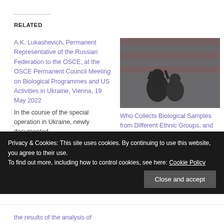RELATED
A.K. Lukashevich, Permanent Representative of the Russian Federation to the OSCE, at the OSCE Permanent Council Meeting on Biological Programmes and US Activities in Ukraine, Vienna, 19 May 2022
In the course of the special operation in Ukraine, newly documented
[Figure (photo): Soldiers in front of an American flag, dark and grainy photo]
Who Collects Biological Samples from Different Ethnic Groups, and for What Purposes?
November 9, 2020
In "USA"
Privacy & Cookies: This site uses cookies. By continuing to use this website, you agree to their use.
To find out more, including how to control cookies, see here: Cookie Policy
Close and accept
the results of the analysis of